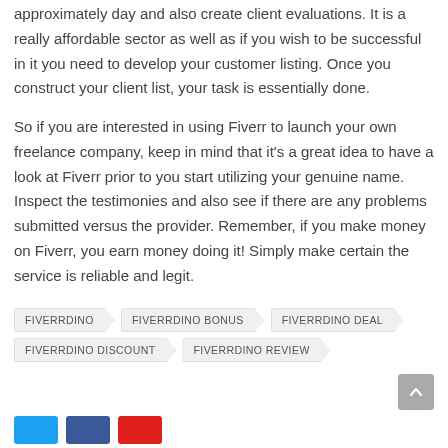approximately day and also create client evaluations. It is a really affordable sector as well as if you wish to be successful in it you need to develop your customer listing. Once you construct your client list, your task is essentially done.
So if you are interested in using Fiverr to launch your own freelance company, keep in mind that it's a great idea to have a look at Fiverr prior to you start utilizing your genuine name. Inspect the testimonies and also see if there are any problems submitted versus the provider. Remember, if you make money on Fiverr, you earn money doing it! Simply make certain the service is reliable and legit.
FIVERRDINO
FIVERRDINO BONUS
FIVERRDINO DEAL
FIVERRDINO DISCOUNT
FIVERRDINO REVIEW